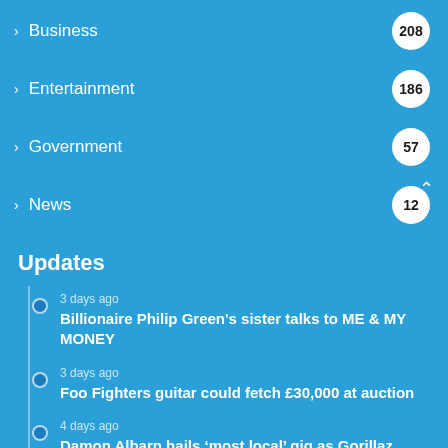Business 208
Entertainment 186
Government 57
News 12
Updates
3 days ago
Billionaire Philip Green's sister talks to ME & MY MONEY
3 days ago
Foo Fighters guitar could fetch £30,000 at auction
4 days ago
Damon Albarn hails 'most local' gig as Gorillaz headline All Points East
5 days ago
Auto safety test: physical buttons beat modern touchscreens